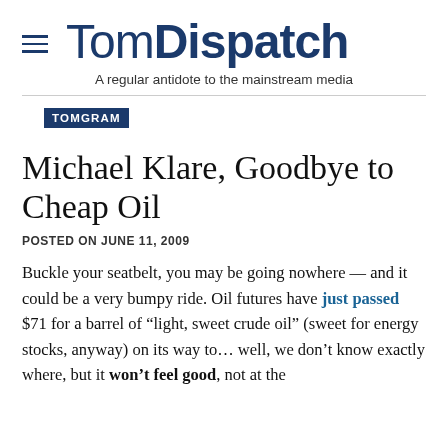TomDispatch
A regular antidote to the mainstream media
TOMGRAM
Michael Klare, Goodbye to Cheap Oil
POSTED ON JUNE 11, 2009
Buckle your seatbelt, you may be going nowhere — and it could be a very bumpy ride. Oil futures have just passed $71 for a barrel of “light, sweet crude oil” (sweet for energy stocks, anyway) on its way to… well, we don’t know exactly where, but it won’t feel good, not at the